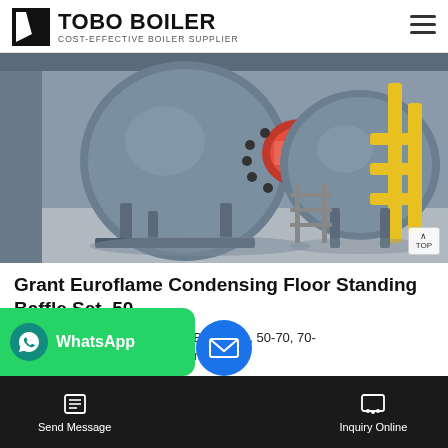TOBO BOILER — COST-EFFECTIVE BOILER SUPPLIER
[Figure (photo): Industrial boilers in a factory setting — large cylindrical horizontal boilers with red burner heads, mounted on metal frames, connected by yellow pipes, on a concrete floor.]
Grant Euroflame Condensing Floor Standing Baffle Set, 50
ae Condensing Floor Standing Baffle Set, 50-70, 70- urpose of a baffle in an oil boiler is to R ment mplete baf
Send Message | Inquiry Online